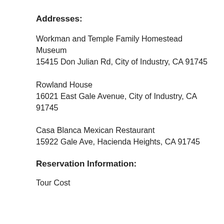Addresses:
Workman and Temple Family Homestead Museum
15415 Don Julian Rd, City of Industry, CA 91745
Rowland House
16021 East Gale Avenue, City of Industry, CA 91745
Casa Blanca Mexican Restaurant
15922 Gale Ave, Hacienda Heights, CA 91745
Reservation Information:
Tour Cost